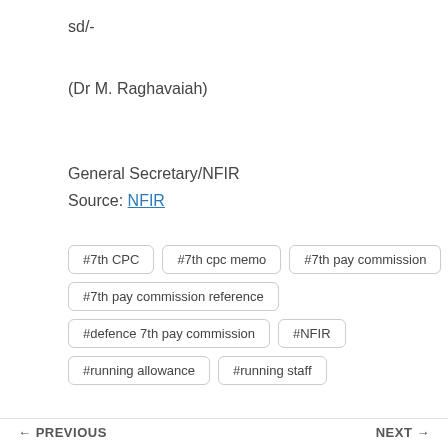sd/-
(Dr M. Raghavaiah)
General Secretary/NFIR
Source: NFIR
#7th CPC
#7th cpc memo
#7th pay commission
#7th pay commission reference
#defence 7th pay commission
#NFIR
#running allowance
#running staff
← PREVIOUS    NEXT →